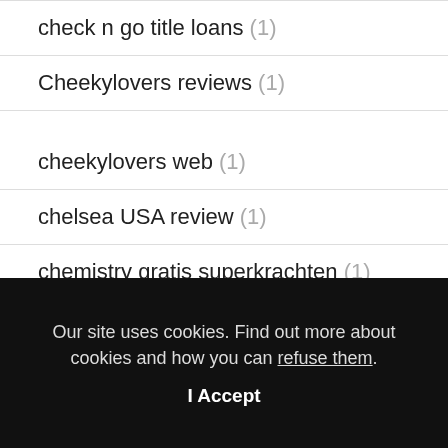check n go title loans (1)
Cheekylovers reviews (1)
cheekylovers web (1)
chelsea USA review (1)
chemistry gratis superkrachten (1)
chemistry seiten (1)
[Figure (logo): IllGraphix logo – metallic silver and gold stylized letters with orbital ring, repeated as watermark]
Our site uses cookies. Find out more about cookies and how you can refuse them.
I Accept